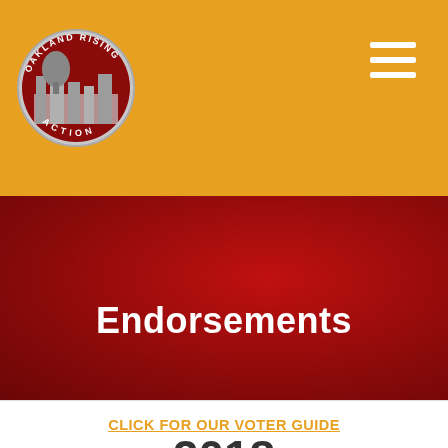[Figure (logo): Oakland Rising Action circular logo with city skyline and tree, gray and white on circular badge]
Oakland Rising Action header with hamburger menu icon
Endorsements
CLICK FOR OUR VOTER GUIDE
2018